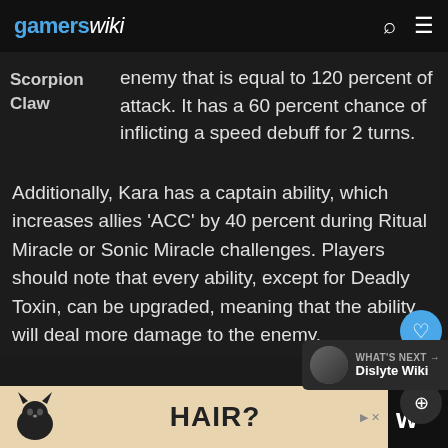gamerswiki
Scorpion Claw — enemy that is equal to 120 percent of attack. It has a 60 percent chance of inflicting a speed debuff for 2 turns.
Additionally, Kara has a captain ability, which increases allies 'ACC' by 40 percent during Ritual Miracle or Sonic Miracle challenges. Players should note that every ability, except for Deadly Toxin, can be upgraded, meaning that the ability will deal more damage to the enemy.
[Figure (screenshot): Social share UI with heart button (2 likes) and share button]
[Figure (screenshot): What's Next widget showing Dislyte Wiki thumbnail and label]
[Figure (advertisement): Ad bar at bottom showing HAIR? text with cat logo and W logo]